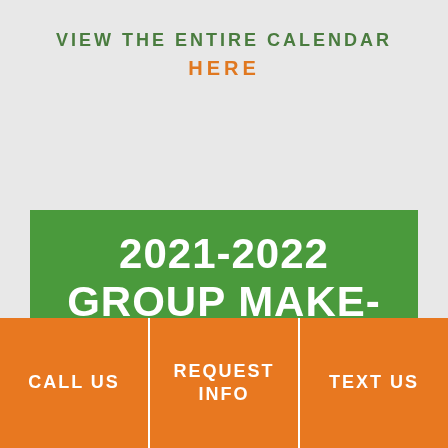VIEW THE ENTIRE CALENDAR
HERE
2021-2022 GROUP MAKE-UP LESSONS
CALL US
REQUEST INFO
TEXT US